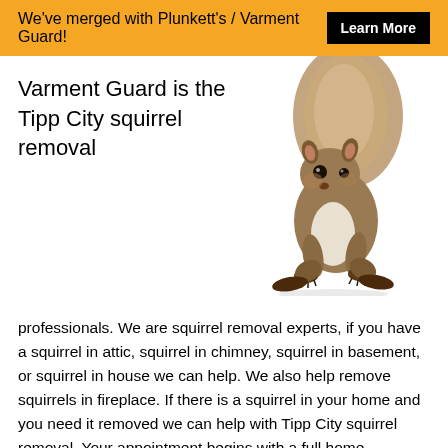We've merged with Plunkett's / Varment Guard! Learn More
Varment Guard is the Tipp City squirrel removal
[Figure (photo): A grey squirrel photographed on a white background, facing forward and slightly downward, with a large bushy tail curled up behind it.]
professionals. We are squirrel removal experts, if you have a squirrel in attic, squirrel in chimney, squirrel in basement, or squirrel in house we can help. We also help remove squirrels in fireplace. If there is a squirrel in your home and you need it removed we can help with Tipp City squirrel removal. Your appointment begins with a full home inspection to find entry and exit points the squirrel is using. Our technicians can then set traps to capture the squirrel. Once the squirrel is captured and removed, we can repair damages the squirrel may have